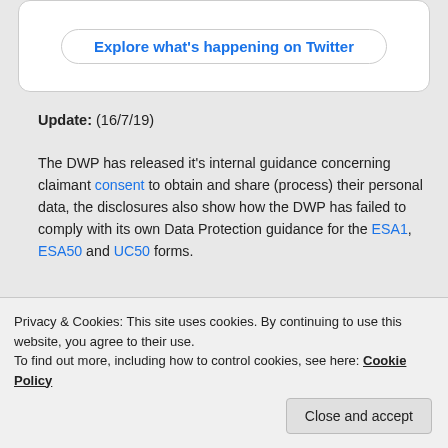[Figure (screenshot): Twitter button box with 'Explore what's happening on Twitter' link button]
Update: (16/7/19)
The DWP has released it's internal guidance concerning claimant consent to obtain and share (process) their personal data, the disclosures also show how the DWP has failed to comply with its own Data Protection guidance for the ESA1, ESA50 and UC50 forms.
Related:
'Revised DWP letter to GPs continues to be...
Privacy & Cookies: This site uses cookies. By continuing to use this website, you agree to their use. To find out more, including how to control cookies, see here: Cookie Policy
Close and accept